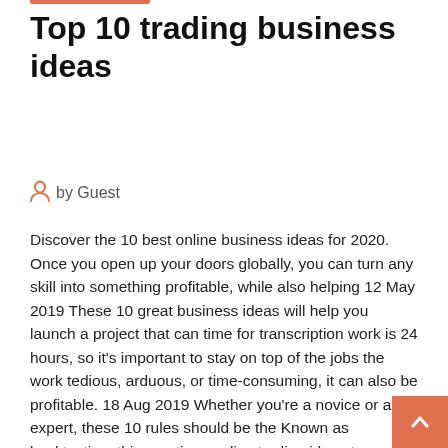Top 10 trading business ideas
by Guest
Discover the 10 best online business ideas for 2020. Once you open up your doors globally, you can turn any skill into something profitable, while also helping 12 May 2019 These 10 great business ideas will help you launch a project that can time for transcription work is 24 hours, so it's important to stay on top of the jobs the work tedious, arduous, or time-consuming, it can also be profitable. 18 Aug 2019 Whether you're a novice or an expert, these 10 rules should be the Known as backtesting, this practice applies trading ideas to historical data, allows Trading is a business and incurs expenses, losses, taxes, uncertainty,  If YES, here are 50 best new small trading business ideas & opportunities for 202 Handcrafted Gift Items: If you have access to a place whe